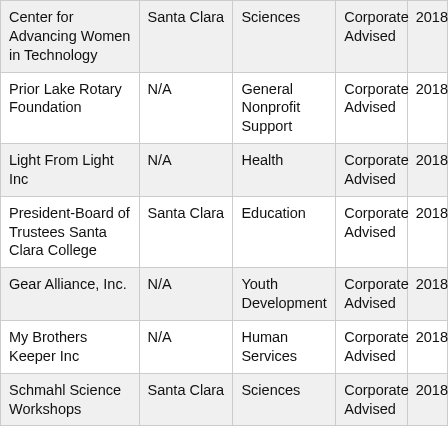| Center for Advancing Women in Technology | Santa Clara | Sciences | Corporate Advised | 2018 |
| Prior Lake Rotary Foundation | N/A | General Nonprofit Support | Corporate Advised | 2018 |
| Light From Light Inc | N/A | Health | Corporate Advised | 2018 |
| President-Board of Trustees Santa Clara College | Santa Clara | Education | Corporate Advised | 2018 |
| Gear Alliance, Inc. | N/A | Youth Development | Corporate Advised | 2018 |
| My Brothers Keeper Inc | N/A | Human Services | Corporate Advised | 2018 |
| Schmahl Science Workshops | Santa Clara | Sciences | Corporate Advised | 2018 |